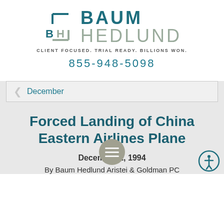[Figure (logo): Baum Hedlund law firm logo with bracket graphic and text 'BAUM HEDLUND', tagline 'CLIENT FOCUSED. TRIAL READY. BILLIONS WON.' and phone number 855-948-5098]
December
Forced Landing of China Eastern Airlines Plane
December 2, 1994
By Baum Hedlund Aristei & Goldman PC